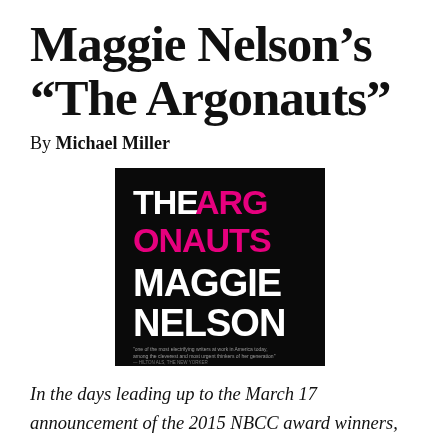Maggie Nelson's “The Argonauts”
By Michael Miller
[Figure (illustration): Book cover of 'The Argonauts' by Maggie Nelson. Black background with 'THE ARG' in white bold text and 'ONAUTS' in magenta/pink, then 'MAGGIE NELSON' in white bold large text below.]
In the days leading up to the March 17 announcement of the 2015 NBCC award winners,